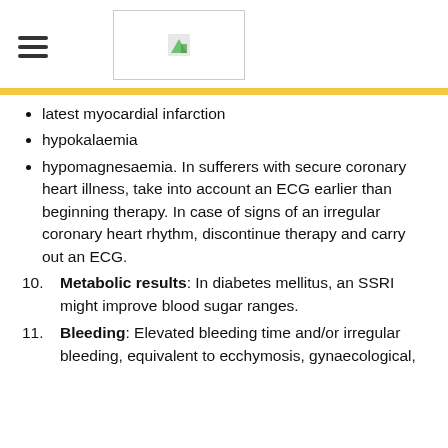[hamburger menu icon] [logo image]
latest myocardial infarction
hypokalaemia
hypomagnesaemia. In sufferers with secure coronary heart illness, take into account an ECG earlier than beginning therapy. In case of signs of an irregular coronary heart rhythm, discontinue therapy and carry out an ECG.
Metabolic results: In diabetes mellitus, an SSRI might improve blood sugar ranges.
Bleeding: Elevated bleeding time and/or irregular bleeding, equivalent to ecchymosis, gynaecological,